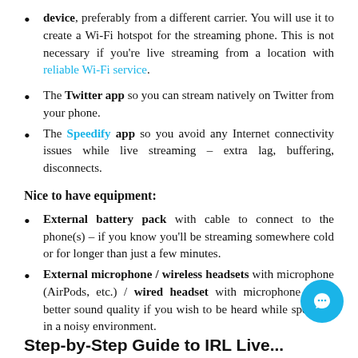device, preferably from a different carrier. You will use it to create a Wi-Fi hotspot for the streaming phone. This is not necessary if you're live streaming from a location with reliable Wi-Fi service.
The Twitter app so you can stream natively on Twitter from your phone.
The Speedify app so you avoid any Internet connectivity issues while live streaming – extra lag, buffering, disconnects.
Nice to have equipment:
External battery pack with cable to connect to the phone(s) – if you know you'll be streaming somewhere cold or for longer than just a few minutes.
External microphone / wireless headsets with microphone (AirPods, etc.) / wired headset with microphone – for better sound quality if you wish to be heard while speaking in a noisy environment.
Step-by-Step Guide to IRL Live...